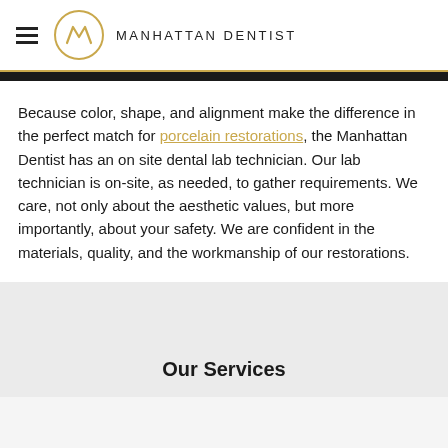MANHATTAN DENTIST
Because color, shape, and alignment make the difference in the perfect match for porcelain restorations, the Manhattan Dentist has an on site dental lab technician. Our lab technician is on-site, as needed, to gather requirements. We care, not only about the aesthetic values, but more importantly, about your safety. We are confident in the materials, quality, and the workmanship of our restorations.
Our Services